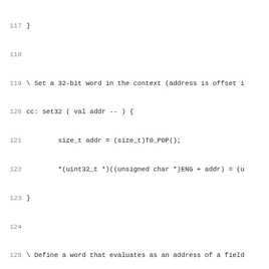Source code listing lines 117-148, showing Forth/C code for set32 word and addr-eng definitions
117 }
118
119 \ Set a 32-bit word in the context (address is offset i
120 cc: set32 ( val addr -- ) {
121         size_t addr = (size_t)T0_POP();
122         *(uint32_t *)((unsigned char *)ENG + addr) = (u
123 }
124
125 \ Define a word that evaluates as an address of a field
126 \ engine context. The field name (C identifier) must fo
127 \ source. For field 'foo', the defined word is 'addr-fo
128 : addr-eng:
129         next-word { field }
130         "addr-" field + 0 1 define-word
131         0 8191 "offsetof(br_ssl_engine_context, " field
132         postpone literal postpone ; ;
133
134 addr-eng: max_frag_len
135 addr-eng: log_max_frag_len
136 addr-eng: peer_log_max_frag_len
137 addr-eng: shutdown_recv
138 addr-eng: record_type_in
139 addr-eng: record_type_out
140 addr-eng: version_in
141 addr-eng: version_out
142 addr-eng: application_data
143 addr-eng: version_min
144 addr-eng: version_max
145 addr-eng: suites_buf
146 addr-eng: suites_num
147 addr-eng: server_name
148 \ addr-eng: version
149 \ addr-eng: